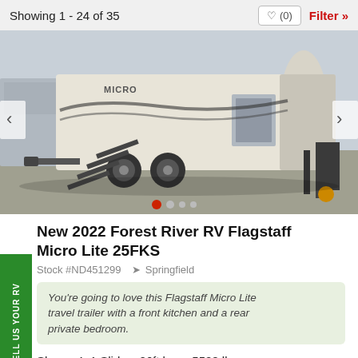Showing 1 - 24 of 35
[Figure (photo): Photo of a 2022 Forest River RV Flagstaff Micro Lite 25FKS travel trailer parked outdoors, showing exterior with entry stairs deployed and hitch visible]
New 2022 Forest River RV Flagstaff Micro Lite 25FKS
Stock #ND451299  Springfield
You're going to love this Flagstaff Micro Lite travel trailer with a front kitchen and a rear private bedroom.
Sleeps 4, 1 Slides, 26ft long, 5528 lbs, Front Kitchen, Outdoor Kitchen, ...View Floorplan